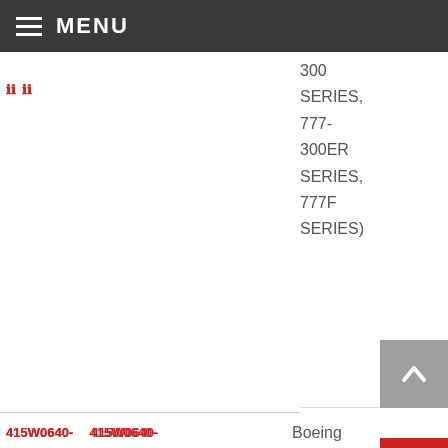MENU
300 SERIES, 777-300ER SERIES, 777F SERIES)
Boeing (777-200 SERIES, 777-200LR SERIES,
415W0640-   415W0640-